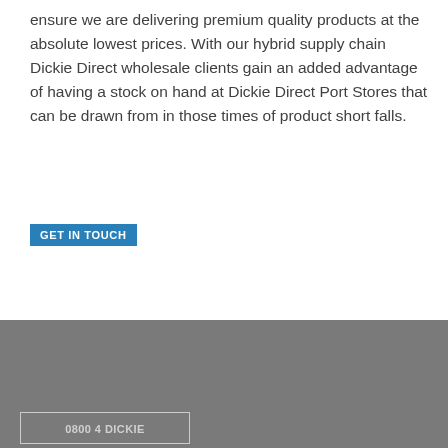ensure we are delivering premium quality products at the absolute lowest prices. With our hybrid supply chain Dickie Direct wholesale clients gain an added advantage of having a stock on hand at Dickie Direct Port Stores that can be drawn from in those times of product short falls.
GET IN TOUCH
0800 4 DICKIE